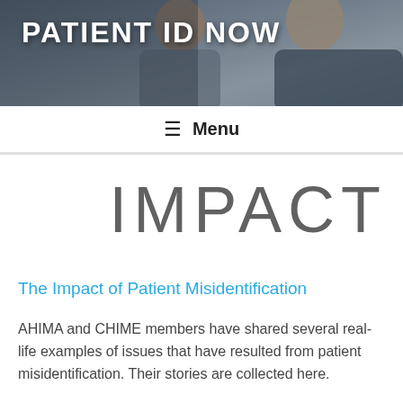[Figure (photo): Header photo showing two men in conversation, overlaid with the text PATIENT ID NOW]
PATIENT ID NOW
≡  Menu
IMPACT
The Impact of Patient Misidentification
AHIMA and CHIME members have shared several real-life examples of issues that have resulted from patient misidentification. Their stories are collected here.